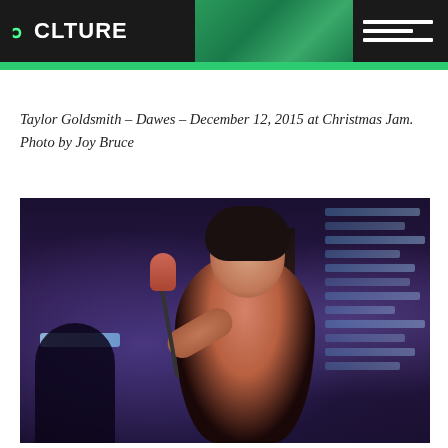CLTURE
Taylor Goldsmith – Dawes – December 12, 2015 at Christmas Jam. Photo by Joy Bruce
[Figure (photo): Concert photo of a female singer performing on stage, holding a microphone, wearing a black sparkly outfit, with blue stage lighting and light strips visible in the background]